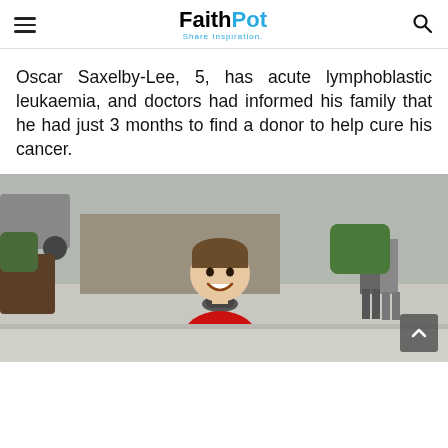FaithPot — Share Inspiration
Oscar Saxelby-Lee, 5, has acute lymphoblastic leukaemia, and doctors had informed his family that he had just 3 months to find a donor to help cure his cancer.
[Figure (photo): Young boy (Oscar Saxelby-Lee) smiling outdoors, wearing a red jacket, standing near a bollard. Background shows a car park or street area with other people visible.]